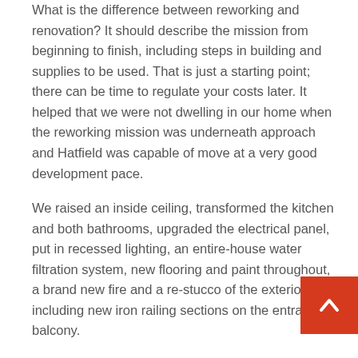What is the difference between reworking and renovation? It should describe the mission from beginning to finish, including steps in building and supplies to be used. That is just a starting point; there can be time to regulate your costs later. It helped that we were not dwelling in our home when the reworking mission was underneath approach and Hatfield was capable of move at a very good development pace.
We raised an inside ceiling, transformed the kitchen and both bathrooms, upgraded the electrical panel, put in recessed lighting, an entire-house water filtration system, new flooring and paint throughout, a brand new fire and a re-stucco of the exterior including new iron railing sections on the entrance balcony.
We provide each residential and commercial services, together with overhaul kitchen remodels, bathroom remodels, dwelling additions, plumbing, roofing work, & extra. Our master transforming craftsman will modernize your home, guaranteeing your dreams change into reality with each personalised family renovation.
[Figure (other): Red back-to-top button with white upward chevron arrow in the bottom-right corner]